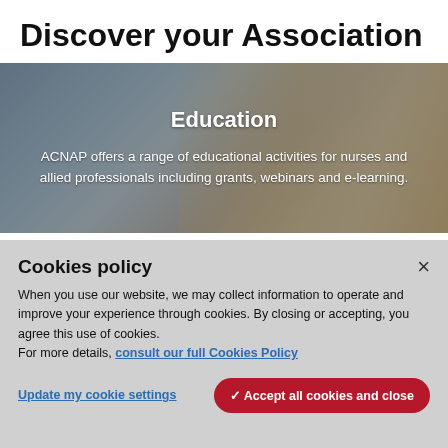Discover your Association
[Figure (photo): Healthcare professionals in a medical setting, overlaid with text about Education. Shows two people in blurred background.]
Education
ACNAP offers a range of educational activities for nurses and allied professionals including grants, webinars and e-learning.
Cookies policy
When you use our website, we may collect information to operate and improve your experience through cookies. By closing or accepting, you agree this use of cookies. For more details, consult our full Cookies Policy
Update my cookie settings
✓ Accept all cookies and close